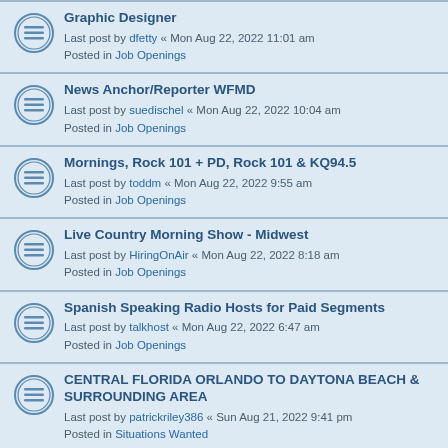Graphic Designer
Last post by dfetty « Mon Aug 22, 2022 11:01 am
Posted in Job Openings
News Anchor/Reporter WFMD
Last post by suedischel « Mon Aug 22, 2022 10:04 am
Posted in Job Openings
Mornings, Rock 101 + PD, Rock 101 & KQ94.5
Last post by toddm « Mon Aug 22, 2022 9:55 am
Posted in Job Openings
Live Country Morning Show - Midwest
Last post by HiringOnAir « Mon Aug 22, 2022 8:18 am
Posted in Job Openings
Spanish Speaking Radio Hosts for Paid Segments
Last post by talkhost « Mon Aug 22, 2022 6:47 am
Posted in Job Openings
CENTRAL FLORIDA ORLANDO TO DAYTONA BEACH & SURROUNDING AREA
Last post by patrickriley386 « Sun Aug 21, 2022 9:41 pm
Posted in Situations Wanted
F/T PROMOTIONS DIRECTOR and Voicetracker
Last post by charese « Sun Aug 21, 2022 7:31 pm
Posted in Stealth Jobs
Operations Manager looking for next challenge in a rewarding career?
Last post by Markontheradio2 « Sun Aug 21, 2022 6:37 pm
Posted in Situations Wanted